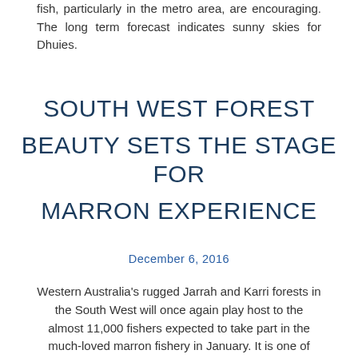fish, particularly in the metro area, are encouraging. The long term forecast indicates sunny skies for Dhuies.
SOUTH WEST FOREST BEAUTY SETS THE STAGE FOR MARRON EXPERIENCE
December 6, 2016
Western Australia's rugged Jarrah and Karri forests in the South West will once again play host to the almost 11,000 fishers expected to take part in the much-loved marron fishery in January. It is one of